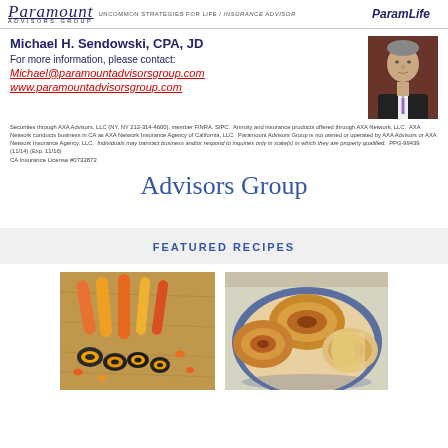Paramount Advisors Group — UNCOMMON STRATEGIES FOR LIFE / Insurance Advisor — ParamLife
Michael H. Sendowski, CPA, JD
For more information, please contact:
Michael@paramountadvisorsgroup.com
www.paramountadvisorsgroup.com
[Figure (photo): Headshot of Michael H. Sendowski in dark suit with purple tie against dark red background]
Securities through AXA Advisors, LLC (NY, NY 212-314-4600), member FINRA, SIPC. Annuity and insurance products offered through AXA Network, LLC. AXA Network conducts business in CA as AXA Network Insurance Agency of California, LLC. Paramount Advisors Group is not owned or operated by AXA Advisors or AXA Network Insurance Agency, LLC. Individuals may transact business and/or respond to inquiries only in state(s) in which they are properly qualified. PPG-99439 (11/14) (Exp. 11/16)
CA Insurance License #0732872
Advisors Group
FEATURED RECIPES
[Figure (photo): Candy rolls and sliced candy pieces on a wooden surface, orange and yellow candy]
[Figure (photo): Cinnamon rolls or sweet bread rolls on a blue plate, partially sliced]